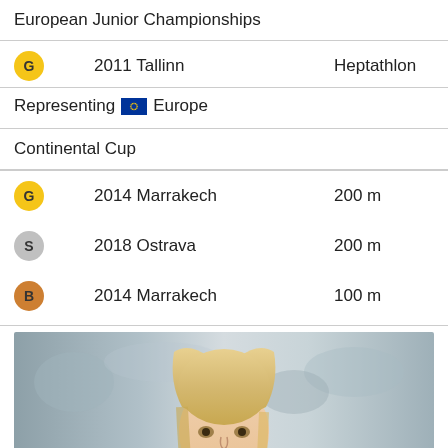European Junior Championships
G  2011 Tallinn  Heptathlon
Representing 🇪🇺 Europe
Continental Cup
G  2014 Marrakech  200 m
S  2018 Ostrava  200 m
B  2014 Marrakech  100 m
[Figure (photo): Portrait photo of a smiling blonde woman athlete, photographed outdoors with blurred crowd in background]